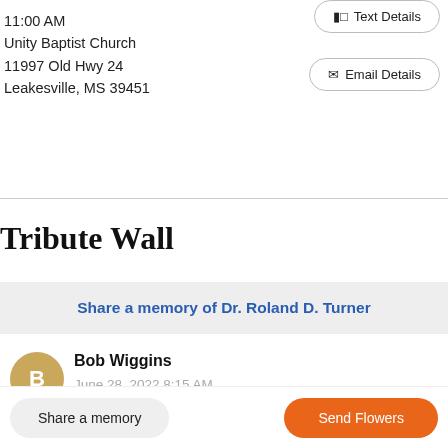11:00 AM
Unity Baptist Church
11997 Old Hwy 24
Leakesville, MS 39451
Text Details
Email Details
Tribute Wall
Share a memory of Dr. Roland D. Turner
Bob Wiggins
June 28, 2022 8:15 AM
I remember going to his camp in Leaksville to a men retreat and
Share a memory
Send Flowers